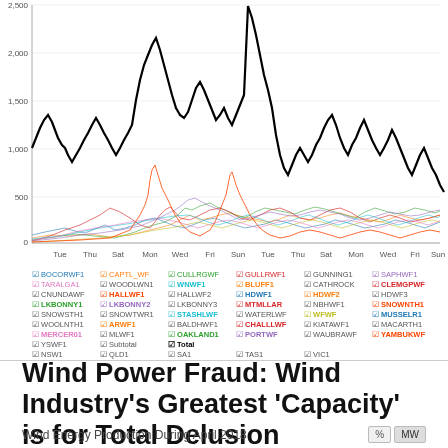[Figure (line-chart): Multi-series line chart showing wind energy production for multiple wind farms in Australia during April 2018. A thick black line shows total production fluctuating between ~0 and ~2500+ MW. Many colored lines near the bottom show individual wind farm contributions. X-axis shows days: Tue, Thu, Sat, Mon, Wed, Fri, Sun, Tue, Thu, Sat, Mon, Wed, Fri, Sun. Y-axis shows 0, 500, 1,000, 1,500, 2,000, 2,500.]
Wind Power Fraud: Wind Industry's Greatest ‘Capacity’ is for Total Delusion
Wind Energy Production During April 2018